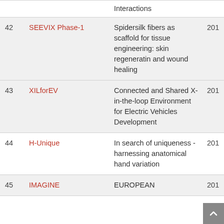| # | Name | Description | Year |
| --- | --- | --- | --- |
|  |  | Interactions |  |
| 42 | SEEVIX Phase-1 | Spidersilk fibers as scaffold for tissue engineering: skin regeneratin and wound healing | 201 |
| 43 | XILforEV | Connected and Shared X-in-the-loop Environment for Electric Vehicles Development | 201 |
| 44 | H-Unique | In search of uniqueness - harnessing anatomical hand variation | 201 |
| 45 | IMAGINE | EUROPEAN | 201 |